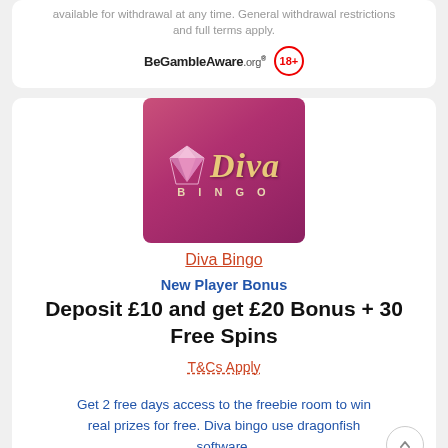available for withdrawal at any time. General withdrawal restrictions and full terms apply.
[Figure (logo): BeGambleAware.org logo and 18+ age restriction badge]
[Figure (logo): Diva Bingo logo on pink/magenta background with diamond icon and gold italic script]
Diva Bingo
New Player Bonus
Deposit £10 and get £20 Bonus + 30 Free Spins
T&Cs Apply
Get 2 free days access to the freebie room to win real prizes for free. Diva bingo use dragonfish software.